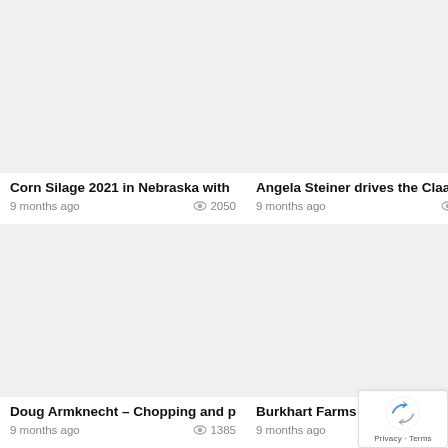Corn Silage 2021 in Nebraska with
9 months ago  2050
Angela Steiner drives the Claas Le
9 months ago  621
Doug Armknecht – Chopping and p
9 months ago  1385
Burkhart Farms fall 2021 harvest
9 months ago  1713
[Figure (screenshot): reCAPTCHA badge with Privacy and Terms links]